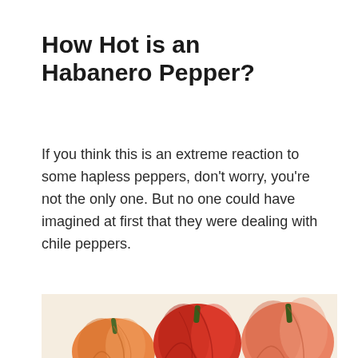How Hot is an Habanero Pepper?
If you think this is an extreme reaction to some hapless peppers, don't worry, you're not the only one. But no one could have imagined at first that they were dealing with chile peppers.
[Figure (photo): A group of habanero peppers — orange and red colored peppers arranged on a light/cream background. The peppers show the characteristic wrinkled shape of habaneros.]